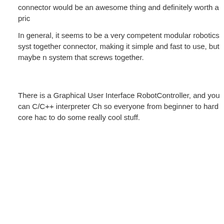connector would be an awesome thing and definitely worth a pric...
In general, it seems to be a very competent modular robotics syst... together connector, making it simple and fast to use, but maybe n... system that screws together.
There is a Graphical User Interface RobotController, and you can... C/C++ interpreter Ch so everyone from beginner to hard core hac... to do some really cool stuff.